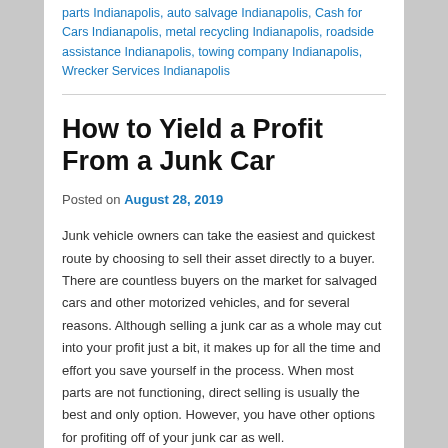parts Indianapolis, auto salvage Indianapolis, Cash for Cars Indianapolis, metal recycling Indianapolis, roadside assistance Indianapolis, towing company Indianapolis, Wrecker Services Indianapolis
How to Yield a Profit From a Junk Car
Posted on August 28, 2019
Junk vehicle owners can take the easiest and quickest route by choosing to sell their asset directly to a buyer. There are countless buyers on the market for salvaged cars and other motorized vehicles, and for several reasons. Although selling a junk car as a whole may cut into your profit just a bit, it makes up for all the time and effort you save yourself in the process. When most parts are not functioning, direct selling is usually the best and only option. However, you have other options for profiting off of your junk car as well.